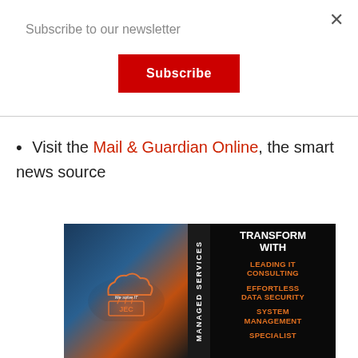×
Subscribe to our newsletter
Subscribe
Visit the Mail & Guardian Online, the smart news source
[Figure (advertisement): JEC Managed Services advertisement. Left half shows a technology background with a cloud icon and JEC logo with text 'We Solve IT'. Right half on black background shows vertical text 'MANAGED SERVICES' and 'TRANSFORM WITH' followed by orange text: 'LEADING IT CONSULTING', 'EFFORTLESS DATA SECURITY', 'SYSTEM MANAGEMENT', 'SPECIALIST']